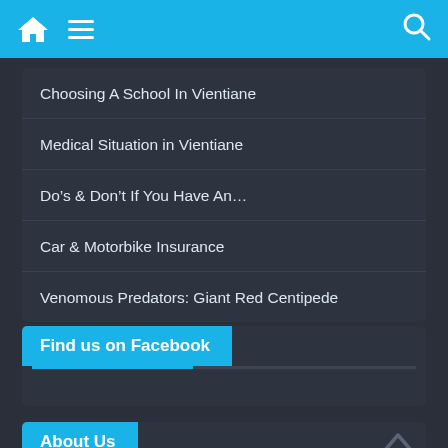[Figure (screenshot): Top navigation bar with home icon, hamburger menu, and search icon on cyan/blue background]
Choosing A School In Vientiane
Medical Situation in Vientiane
Do’s & Don’t If You Have An…
Car & Motorbike Insurance
Venomous Predators: Giant Red Centipede
Find us on Facebook
About Us